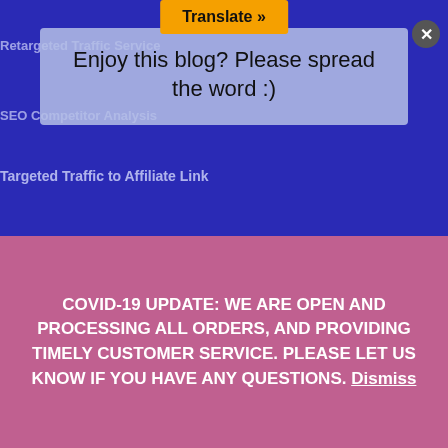[Figure (screenshot): Website screenshot showing a popup overlay with 'Enjoy this blog? Please spread the word :)' message, navigation links on a dark blue background, and a COVID-19 update banner at the bottom in pink/purple.]
Enjoy this blog? Please spread the word :)
Retargeted Traffic Service
SEO Competitor Analysis
Targeted Traffic to Affiliate Link
Ecommerce Traffic to Ebay, Amazon, Shopify Store
Targeted Website Traffic
Best SOLO Ads Vendor
30 Day SEO Plan
.EDU – .GOV Backlinks
ReTargeted Traffic
Best Targeted Leads
Best SEO Company
COVID-19 UPDATE: WE ARE OPEN AND PROCESSING ALL ORDERS, AND PROVIDING TIMELY CUSTOMER SERVICE. PLEASE LET US KNOW IF YOU HAVE ANY QUESTIONS. Dismiss